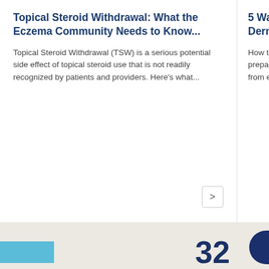Topical Steroid Withdrawal: What the Eczema Community Needs to Know...
Topical Steroid Withdrawal (TSW) is a serious potential side effect of topical steroid use that is not readily recognized by patients and providers. Here's what...
5 Ways Dermato...
How to c prepared from exp...
How are your donations impacting the community?
32
GET THE LATEST NEWS